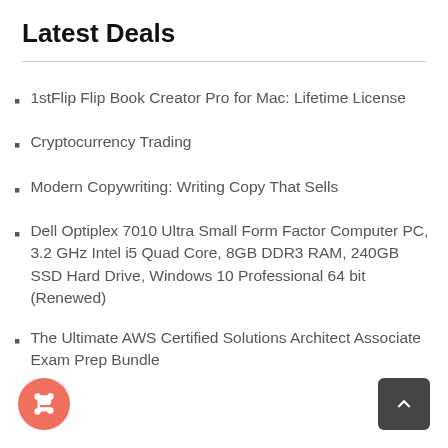Latest Deals
1stFlip Flip Book Creator Pro for Mac: Lifetime License
Cryptocurrency Trading
Modern Copywriting: Writing Copy That Sells
Dell Optiplex 7010 Ultra Small Form Factor Computer PC, 3.2 GHz Intel i5 Quad Core, 8GB DDR3 RAM, 240GB SSD Hard Drive, Windows 10 Professional 64 bit (Renewed)
The Ultimate AWS Certified Solutions Architect Associate Exam Prep Bundle